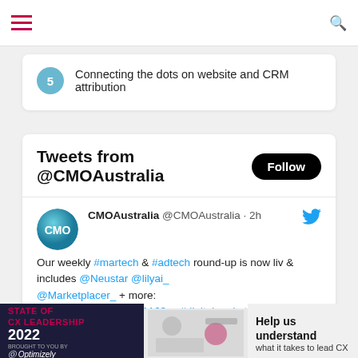Navigation bar with hamburger menu and search icon
5 Connecting the dots on website and CRM attribution
Tweets from @CMOAustralia
CMOAustralia @CMOAustralia · 2h
Our weekly #martech & #adtech round-up is now liv & includes @Neustar @lilyai_ @Marketplacer_ + more: cmo.com.au/article/701163… #digitalmarketing #digitaladvertising
cmo.com.au — CMO's top 8 martech stories for the week - 1 September …
[Figure (screenshot): Advertisement banner: State of CX Leadership 2022, brought to you by Optimizely. Help us understand what it takes to lead CX.]